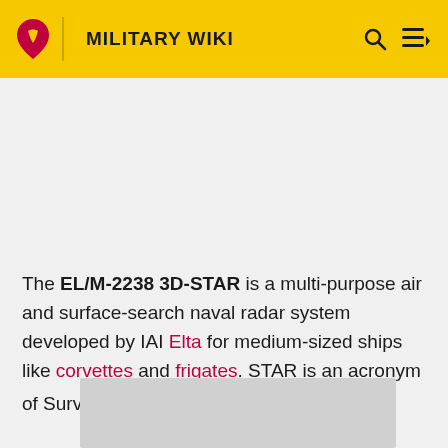MILITARY WIKI
The EL/M-2238 3D-STAR is a multi-purpose air and surface-search naval radar system developed by IAI Elta for medium-sized ships like corvettes and frigates. STAR is an acronym of Surveillance & Threat Alert Radar.[1]
[Figure (photo): Gray placeholder image box at bottom of page]